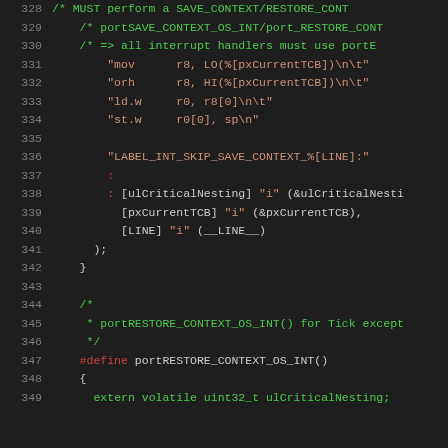[Figure (screenshot): Source code viewer showing C/assembly inline code lines 328–349 with line numbers in gray, comments in green, strings in orange/red, and identifiers in white on dark background.]